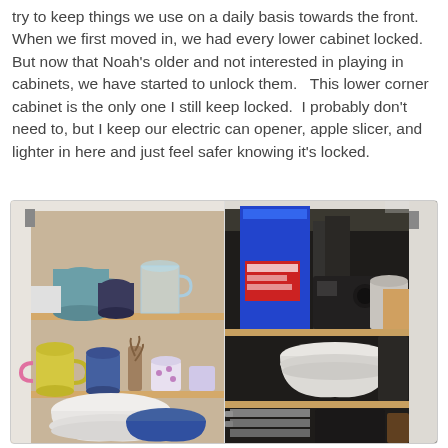try to keep things we use on a daily basis towards the front. When we first moved in, we had every lower cabinet locked. But now that Noah's older and not interested in playing in cabinets, we have started to unlock them.   This lower corner cabinet is the only one I still keep locked.  I probably don't need to, but I keep our electric can opener, apple slicer, and lighter in here and just feel safer knowing it's locked.
[Figure (photo): Two open kitchen cabinet doors side by side. Left cabinet shows shelves with mugs, cups, a measuring cup, and bowls. Right cabinet shows a large blue bag, a coffee maker, dishes, and kitchen items on shelves.]